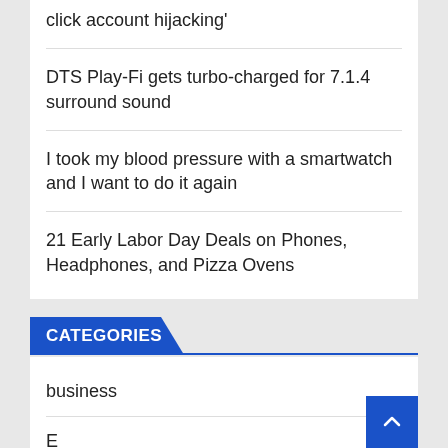click account hijacking'
DTS Play-Fi gets turbo-charged for 7.1.4 surround sound
I took my blood pressure with a smartwatch and I want to do it again
21 Early Labor Day Deals on Phones, Headphones, and Pizza Ovens
CATEGORIES
business
Entertainment